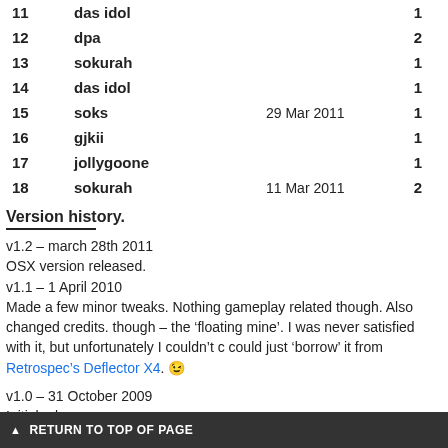| # | Name | Date | Score |
| --- | --- | --- | --- |
| 11 | das idol |  | 1 |
| 12 | dpa |  | 2 |
| 13 | sokurah |  | 1 |
| 14 | das idol |  | 1 |
| 15 | soks | 29 Mar 2011 | 1 |
| 16 | gjkii |  | 1 |
| 17 | jollygoone |  | 1 |
| 18 | sokurah | 11 Mar 2011 | 2 |
Version history.
v1.2 – march 28th 2011
OSX version released.
v1.1 – 1 April 2010
Made a few minor tweaks. Nothing gameplay related though. Also changed credits. though – the 'floating mine'. I was never satisfied with it, but unfortunately I couldn't c could just 'borrow' it from Retrospec's Deflector X4. 😉
v1.0 – 31 October 2009
Initial release.
▲ RETURN TO TOP OF PAGE